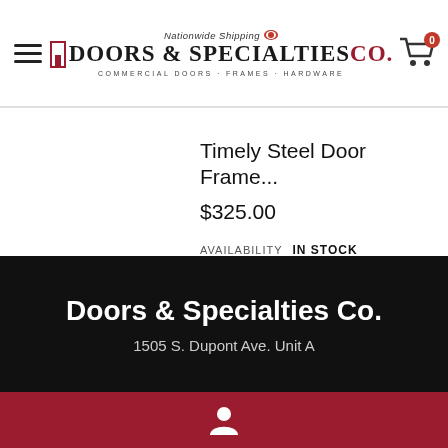Doors & Specialties Co. — Nationwide Shipping — Commercial Doors · Frames · Hardware
Timely Steel Door Frame...
$325.00
AVAILABILITY   IN STOCK
SELECT OPTIONS
Doors & Specialties Co.
1505 S. Dupont Ave. Unit A